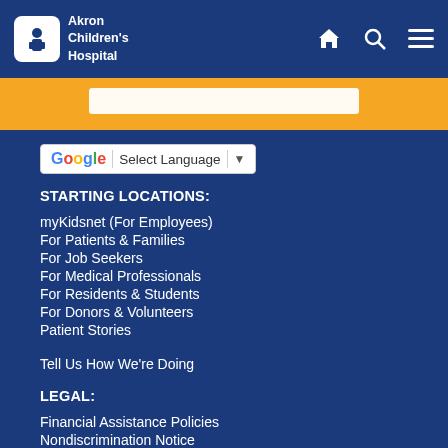Akron Children's Hospital
[Figure (screenshot): Google Translate widget with Select Language dropdown]
STARTING LOCATIONS:
myKidsnet (For Employees)
For Patients & Families
For Job Seekers
For Medical Professionals
For Residents & Students
For Donors & Volunteers
Patient Stories
Tell Us How We're Doing
LEGAL:
Financial Assistance Policies
Nondiscrimination Notice
Patient Rights
Notice of Privacy Practices